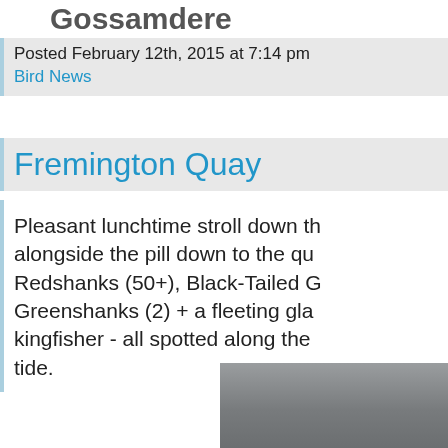Gossamders
Posted February 12th, 2015 at 7:14 pm
Bird News
Fremington Quay
Pleasant lunchtime stroll down th alongside the pill down to the qu Redshanks (50+), Black-Tailed G Greenshanks (2) + a fleeting gla kingfisher - all spotted along the tide.
[Figure (photo): Partial photo showing a grey water or sky scene at the bottom of the page]